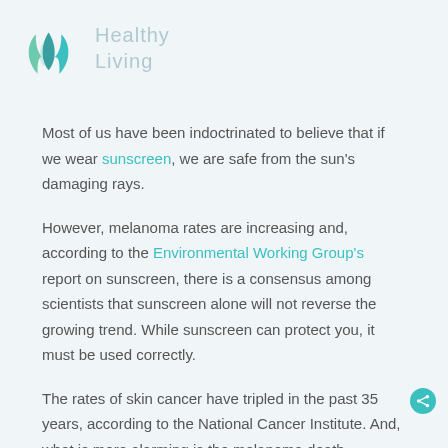[Figure (logo): Green teal leaf/flame logo icon]
Healthy Living
Most of us have been indoctrinated to believe that if we wear sunscreen, we are safe from the sun's damaging rays.
However, melanoma rates are increasing and, according to the Environmental Working Group's report on sunscreen, there is a consensus among scientists that sunscreen alone will not reverse the growing trend. While sunscreen can protect you, it must be used correctly.
The rates of skin cancer have tripled in the past 35 years, according to the National Cancer Institute. And, what is more alarming is the melanoma death